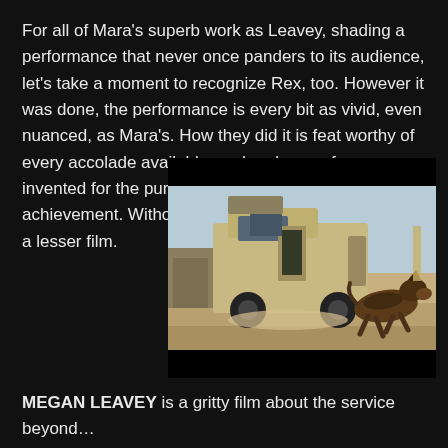For all of Mara's superb work as Leavey, shading a performance that never once panders to its audience, let's take a moment to recognize Rex, too. However it was done, the performance is every bit as vivid, even nuanced, as Mara's. How they did it is feat worthy of every accolade available, and perhaps a few invented for the purpose of recognizing this achievement. Without it, MEGAN LEAVEY would be a lesser film.
[Figure (photo): A military German Shepherd dog running alongside a tan military Humvee vehicle in a desert environment. The scene appears to be from a film still.]
MEGAN LEAVEY is a gritty film about the service beyond…